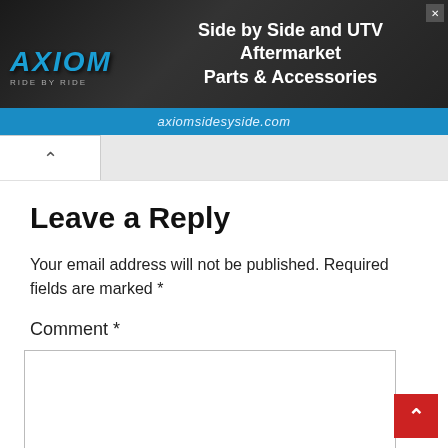[Figure (screenshot): Axiom Side by Side banner advertisement with dark textured background, blue Axiom logo on left, white text 'Side by Side and UTV Aftermarket Parts & Accessories' in center, blue bar at bottom with 'axiomsidesysside.com']
Leave a Reply
Your email address will not be published. Required fields are marked *
Comment *